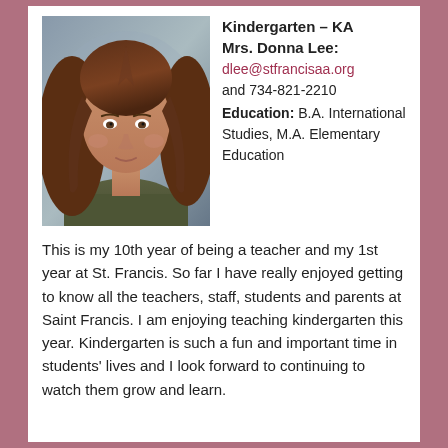[Figure (photo): Portrait photo of Mrs. Donna Lee, a woman with long brown hair wearing an olive/dark green top, against a blue-grey background.]
Kindergarten – KA
Mrs. Donna Lee: dlee@stfrancisaa.org and 734-821-2210 Education: B.A. International Studies, M.A. Elementary Education
This is my 10th year of being a teacher and my 1st year at St. Francis. So far I have really enjoyed getting to know all the teachers, staff, students and parents at Saint Francis. I am enjoying teaching kindergarten this year. Kindergarten is such a fun and important time in students' lives and I look forward to continuing to watch them grow and learn.